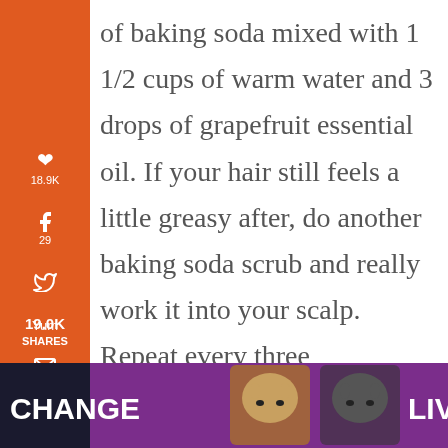of baking soda mixed with 1 1/2 cups of warm water and 3 drops of grapefruit essential oil. If your hair still feels a little greasy after, do another baking soda scrub and really work it into your scalp. Repeat every three days until the oiliness settles.
19.0K SHARES